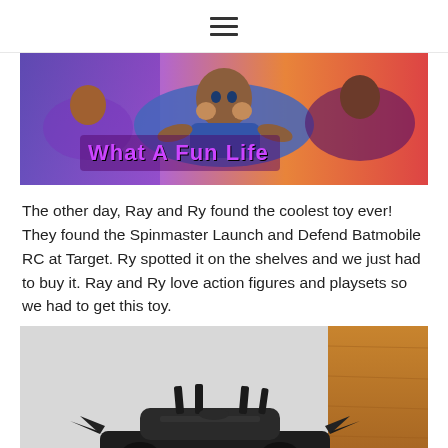≡ (hamburger menu icon)
[Figure (illustration): Blog banner image showing children lying down with colorful illustrated background, with text overlay 'What A Fun Life' in purple/pink stylized font]
The other day, Ray and Ry found the coolest toy ever! They found the Spinmaster Launch and Defend Batmobile RC at Target. Ry spotted it on the shelves and we just had to buy it. Ray and Ry love action figures and playsets so we had to get this toy.
[Figure (photo): Photo of the Spinmaster Launch and Defend Batmobile RC toy, a dark-colored remote-controlled car with fins, against a light gray wall and wooden floor/shelf background]